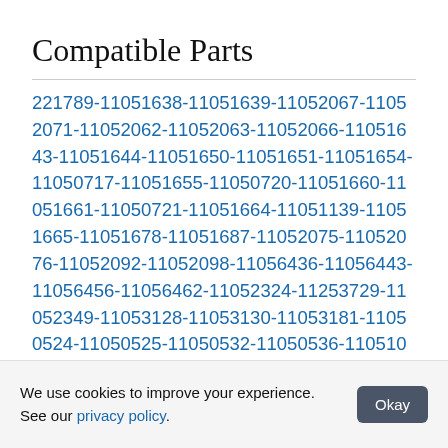Compatible Parts
221789-11051638-11051639-11052067-11052071-11052062-11052063-11052066-11051643-11051644-11051650-11051651-11051654-11050717-11051655-11050720-11051660-11051661-11050721-11051664-11051139-11051665-11051678-11051687-11052075-11052076-11052092-11052098-11056436-11056443-11056456-11056462-11052324-11253729-11052349-11053128-11053130-11053181-11050524-11050525-11050532-11050536-11051003-11050541-11050542-11051013-11050547-11050548-11051109-11050564-1
We use cookies to improve your experience. See our privacy policy.